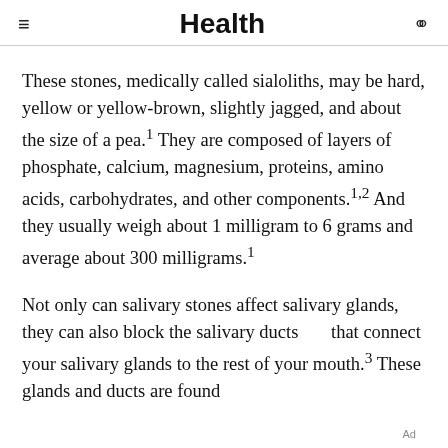Health
These stones, medically called sialoliths, may be hard, yellow or yellow-brown, slightly jagged, and about the size of a pea.¹ They are composed of layers of phosphate, calcium, magnesium, proteins, amino acids, carbohydrates, and other components.¹·² And they usually weigh about 1 milligram to 6 grams and average about 300 milligrams.¹
Not only can salivary stones affect salivary glands, they can also block the salivary ducts that connect your salivary glands to the rest of your mouth.³ These glands and ducts are found